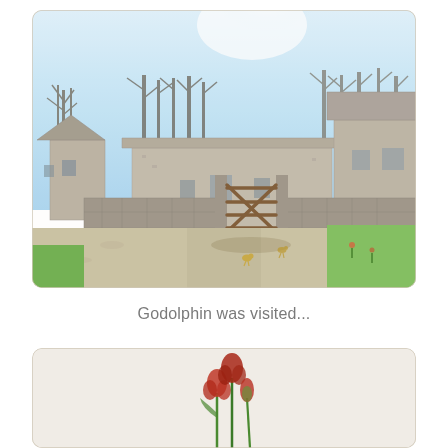[Figure (photo): Photograph of a rural stone farm building with a wooden five-bar gate in the foreground, flanked by dry stone walls, with bare trees in the background and green grass. Bright sky overhead. Instagram-style rounded corner photo.]
Godolphin was visited...
[Figure (photo): Partial photograph showing flowers (red/pink blooms) on stems against a light grey/white background. Bottom of the page, cropped.]